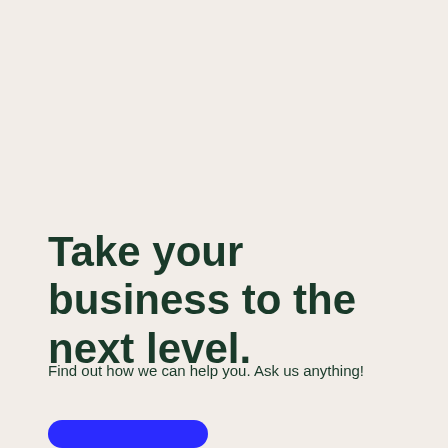Take your business to the next level.
Find out how we can help you. Ask us anything!